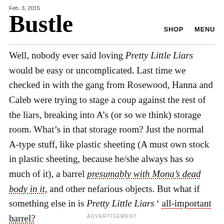Feb. 3, 2015
Bustle
SHOP   MENU
Well, nobody ever said loving Pretty Little Liars would be easy or uncomplicated. Last time we checked in with the gang from Rosewood, Hanna and Caleb were trying to stage a coup against the rest of the liars, breaking into A’s (or so we think) storage room. What’s in that storage room? Just the normal A-type stuff, like plastic sheeting (A must own stock in plastic sheeting, because he/she always has so much of it), a barrel presumably with Mona’s dead body in it, and other nefarious objects. But what if something else in is Pretty Little Liars’ all-important barrel?
ADVERTISEMENT